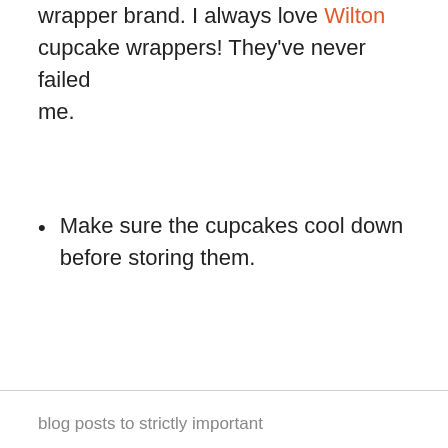wrapper brand. I always love Wilton cupcake wrappers! They've never failed me.
Make sure the cupcakes cool down before storing them.
blog posts to strictly important